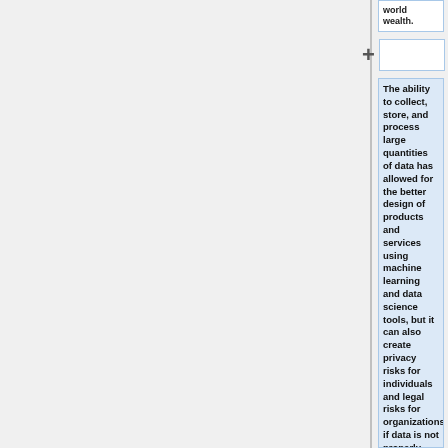world wealth.
The ability to collect, store, and process large quantities of data has allowed for the better design of products and services using machine learning and data science tools, but it can also create privacy risks for individuals and legal risks for organizations, if data is not properly